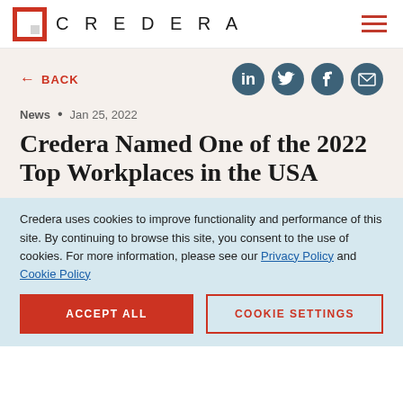CREDERA
← BACK
[Figure (logo): Social share icons: LinkedIn, Twitter, Facebook, Email]
News • Jan 25, 2022
Credera Named One of the 2022 Top Workplaces in the USA
Credera uses cookies to improve functionality and performance of this site. By continuing to browse this site, you consent to the use of cookies. For more information, please see our Privacy Policy and Cookie Policy
ACCEPT ALL | COOKIE SETTINGS